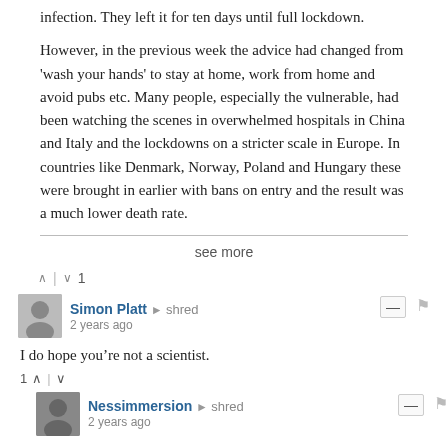infection. They left it for ten days until full lockdown.
However, in the previous week the advice had changed from 'wash your hands' to stay at home, work from home and avoid pubs etc. Many people, especially the vulnerable, had been watching the scenes in overwhelmed hospitals in China and Italy and the lockdowns on a stricter scale in Europe. In countries like Denmark, Norway, Poland and Hungary these were brought in earlier with bans on entry and the result was a much lower death rate.
see more
^ | v 1
Simon Platt → shred
2 years ago
I do hope you’re not a scientist.
1 ^ | v
Nessimmersion → shred
2 years ago
Please show where the UK death rate has massively increased over the 5 year average: